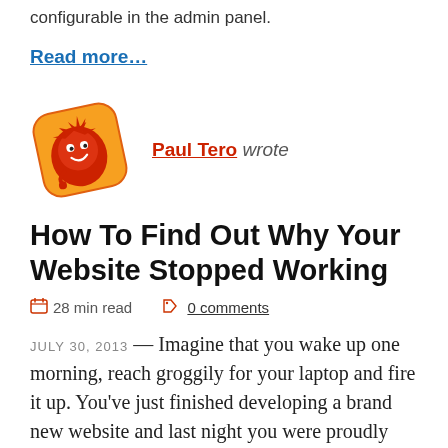configurable in the admin panel.
Read more…
[Figure (illustration): Round orange/red badge-shaped avatar icon featuring a cartoon red sun/spider character with a smiley face, tilted slightly]
Paul Tero wrote
How To Find Out Why Your Website Stopped Working
28 min read   0 comments
JULY 30, 2013 — Imagine that you wake up one morning, reach groggily for your laptop and fire it up. You've just finished developing a brand new website and last night you were proudly clicking through the product